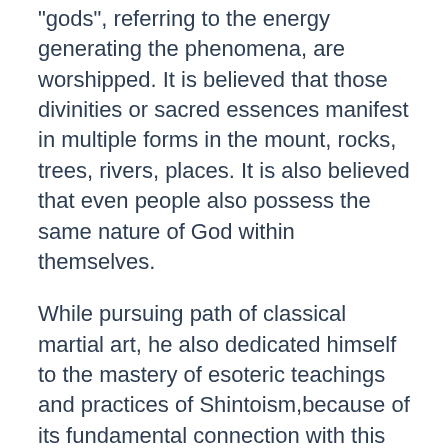"gods", referring to the energy generating the phenomena, are worshipped. It is believed that those divinities or sacred essences manifest in multiple forms in the mount, rocks, trees, rivers, places. It is also believed that even people also possess the same nature of God within themselves.
While pursuing path of classical martial art, he also dedicated himself to the mastery of esoteric teachings and practices of Shintoism,because of its fundamental connection with this martial art. Eventually he learnt also esoteric essence of Taoism for years.
Although he already had a very strong ability both as a medium and healer, it wasn't until he had an extraordinary encounter with the internationally renowned leading psychic medium, healer & spiritual teacher in Europe during his business trip that he started to